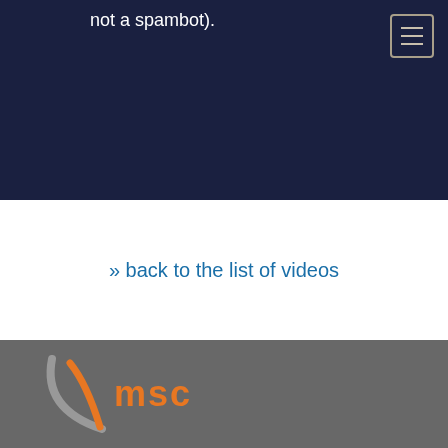not a spambot).
» back to the list of videos
[Figure (logo): MSC Munich Security Conference logo — a curved arc in orange and gray with 'msc' text in orange on a dark gray footer background]